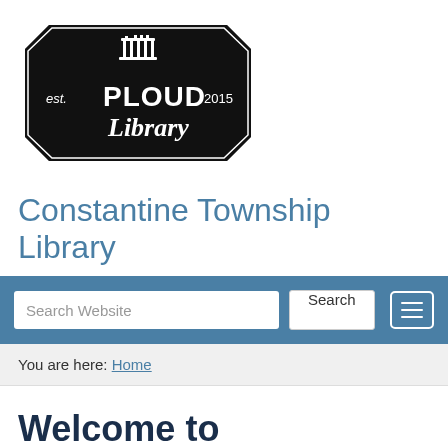[Figure (logo): PLOUD Library logo badge — black hexagonal badge with white text: 'est.' on left, 'PLOUD' in large bold letters center, '2015' on right, 'Library' in script below, with a classical columns/building icon at top]
Constantine Township Library
[Figure (screenshot): Search bar UI with input field labeled 'Search Website', a 'Search' button, and a hamburger menu icon on a steel-blue background]
You are here: Home
Welcome to Constantine Township Library